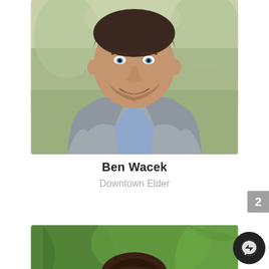[Figure (photo): Headshot of Ben Wacek, a man in a gray blazer and blue shirt, smiling, with blurred outdoor background]
Ben Wacek
Downtown Elder
[Figure (photo): Partial headshot of a person with dark hair in front of green foliage background]
[Figure (other): Facebook Messenger icon button (dark circle with lightning bolt chat symbol)]